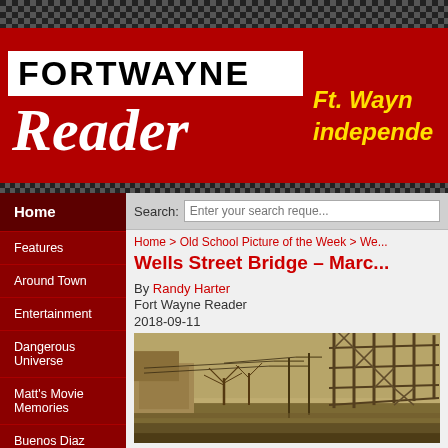FORT WAYNE Reader — Ft. Wayne's independent
Home
Features
Around Town
Entertainment
Dangerous Universe
Matt's Movie Memories
Buenos Diaz
Political Animal
Button Masher
Search: Enter your search reque...
Home > Old School Picture of the Week > We...
Wells Street Bridge – Marc...
By Randy Harter
Fort Wayne Reader
2018-09-11
[Figure (photo): Vintage sepia photograph of Wells Street Bridge construction, showing steel bridge structure being erected, utility poles, bare trees, and street scene below.]